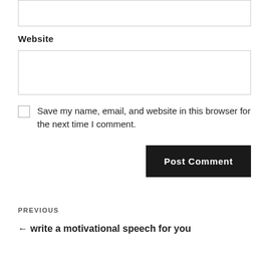Website
Save my name, email, and website in this browser for the next time I comment.
Post Comment
PREVIOUS
← write a motivational speech for you